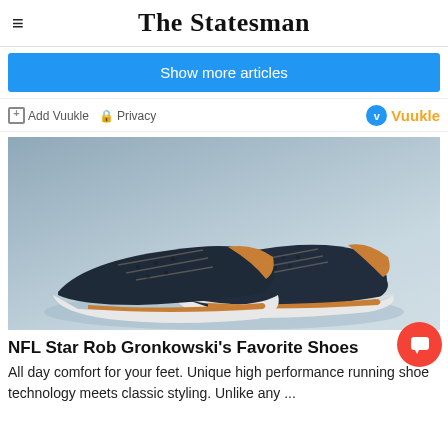The Statesman
Show more articles
Add Vuukle  Privacy  Vuukle
[Figure (photo): Product photo of dark navy blue casual sneakers with tan/brown leather trim and white sole, placed on a sandy/concrete surface against a grey-blue background]
NFL Star Rob Gronkowski's Favorite Shoes
All day comfort for your feet. Unique high performance running shoe technology meets classic styling. Unlike any ...